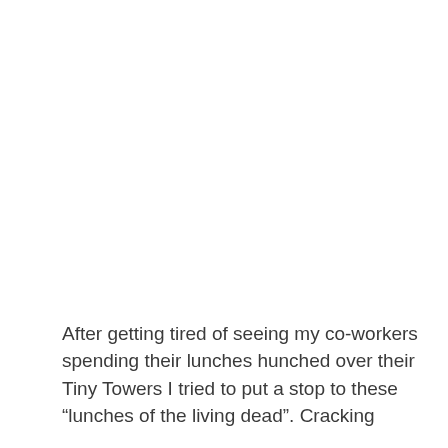After getting tired of seeing my co-workers spending their lunches hunched over their Tiny Towers I tried to put a stop to these “lunches of the living dead”. Cracking